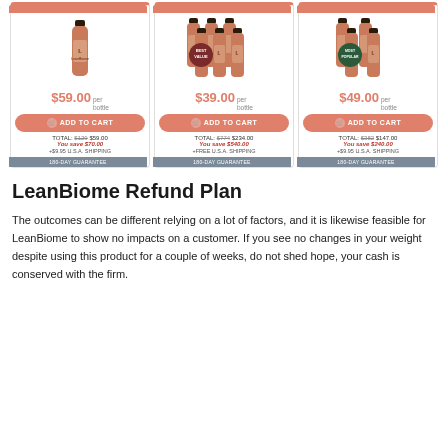[Figure (illustration): Three product cards showing LeanBiome supplement bottles with prices ($59.00/bottle, $39.00/bottle, $49.00/bottle), Add to Cart buttons, totals, savings, shipping info, and 180-day guarantee bars. Middle card has 'BEST VALUE' badge, right card has 'MOST POPULAR' badge.]
LeanBiome Refund Plan
The outcomes can be different relying on a lot of factors, and it is likewise feasible for LeanBiome to show no impacts on a customer. If you see no changes in your weight despite using this product for a couple of weeks, do not shed hope, your cash is conserved with the firm.